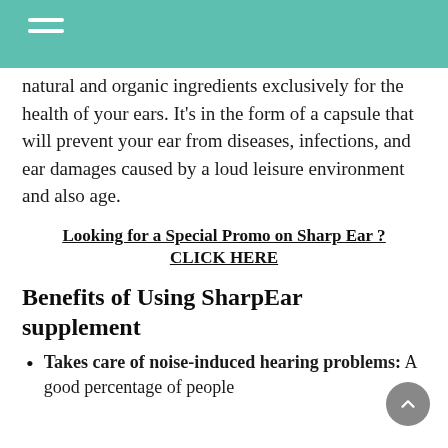Navigation menu
natural and organic ingredients exclusively for the health of your ears. It’s in the form of a capsule that will prevent your ear from diseases, infections, and ear damages caused by a loud leisure environment and also age.
Looking for a Special Promo on Sharp Ear ? CLICK HERE
Benefits of Using SharpEar supplement
Takes care of noise-induced hearing problems: A good percentage of people